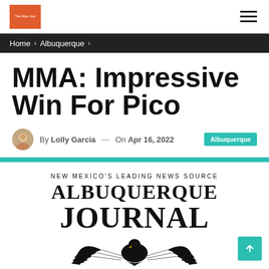The Aliso Joui (logo) | hamburger menu
Home > Albuquerque >
MMA: Impressive Win For Pico
By Lolly Garcia — On Apr 16, 2022  [Albuquerque]
[Figure (logo): Albuquerque Journal newspaper logo with eagle emblem and tagline NEW MEXICO'S LEADING NEWS SOURCE]